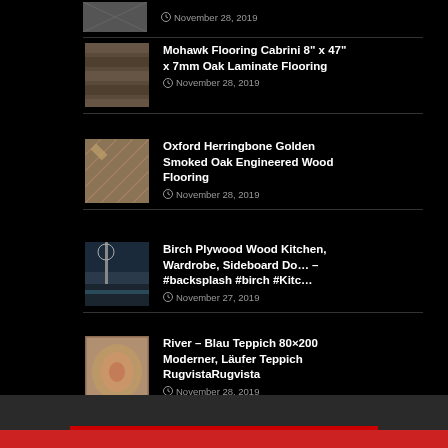November 28, 2019
Mohawk Flooring Cabrini 8” x 47” x 7mm Oak Laminate Flooring
November 28, 2019
Oxford Herringbone Golden Smoked Oak Engineered Wood Flooring
November 28, 2019
Birch Plywood Wood Kitchen, Wardrobe, Sideboard Do… – #backsplash #birch #Kitc…
November 27, 2019
River – Blau Teppich 80×200 Moderner, Läufer Teppich RugvistaRugvista
November 28, 2019